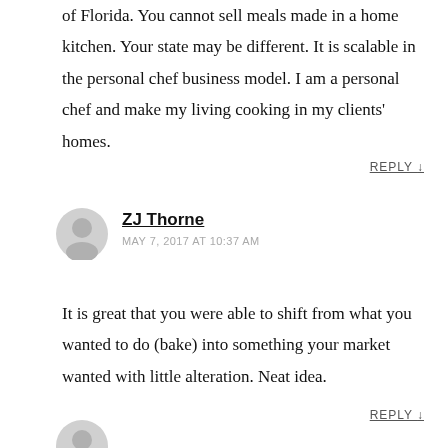of Florida. You cannot sell meals made in a home kitchen. Your state may be different. It is scalable in the personal chef business model. I am a personal chef and make my living cooking in my clients' homes.
REPLY ↓
[Figure (illustration): Gray circular user avatar icon]
ZJ Thorne
MAY 7, 2017 AT 10:37 AM
It is great that you were able to shift from what you wanted to do (bake) into something your market wanted with little alteration. Neat idea.
REPLY ↓
[Figure (illustration): Gray circular user avatar icon (partial, bottom)]